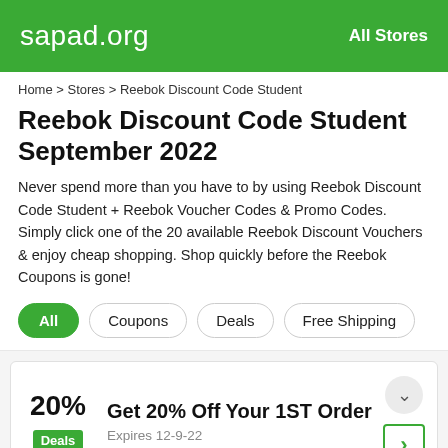sapad.org   All Stores
Home > Stores > Reebok Discount Code Student
Reebok Discount Code Student September 2022
Never spend more than you have to by using Reebok Discount Code Student + Reebok Voucher Codes & Promo Codes. Simply click one of the 20 available Reebok Discount Vouchers & enjoy cheap shopping. Shop quickly before the Reebok Coupons is gone!
All   Coupons   Deals   Free Shipping
20%
Deals
Get 20% Off Your 1ST Order
Expires 12-9-22